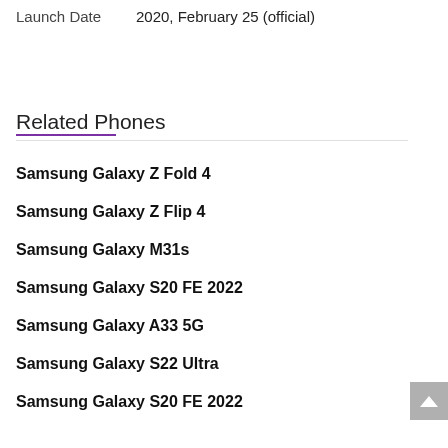Launch Date    2020, February 25 (official)
Related Phones
Samsung Galaxy Z Fold 4
Samsung Galaxy Z Flip 4
Samsung Galaxy M31s
Samsung Galaxy S20 FE 2022
Samsung Galaxy A33 5G
Samsung Galaxy S22 Ultra
Samsung Galaxy S20 FE 2022